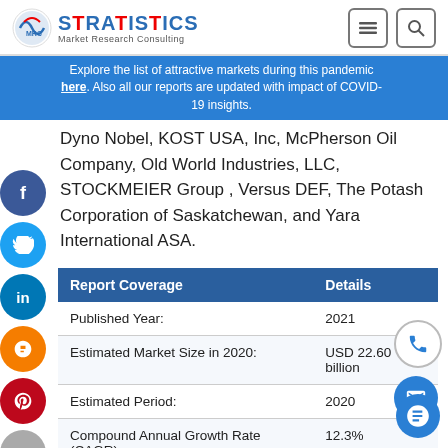Stratistics Market Research Consulting
Explore the list of attractive markets during this pandemic here. Also all our reports are updated with impact of COVID-19 insights.
Dyno Nobel, KOST USA, Inc, McPherson Oil Company, Old World Industries, LLC, STOCKMEIER Group , Versus DEF, The Potash Corporation of Saskatchewan, and Yara International ASA.
| Report Coverage | Details |
| --- | --- |
| Published Year: | 2021 |
| Estimated Market Size in 2020: | USD 22.60 billion |
| Estimated Period: | 2020 |
| Compound Annual Growth Rate (CAGR) | 12.3% |